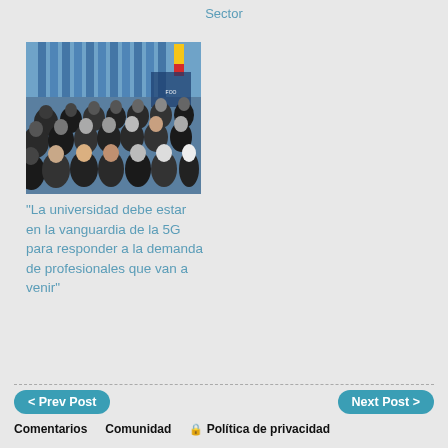Sector
[Figure (photo): A conference room filled with audience members seated, with blue vertical blinds and flags visible in the background.]
“La universidad debe estar en la vanguardia de la 5G para responder a la demanda de profesionales que van a venir”
< Prev Post    Next Post >    Comentarios    Comunidad    🔒 Política de privacidad